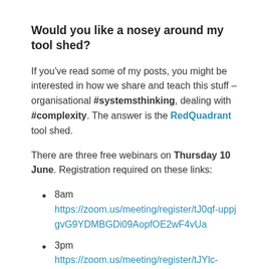Would you like a nosey around my tool shed?
If you've read some of my posts, you might be interested in how we share and teach this stuff – organisational #systemsthinking, dealing with #complexity. The answer is the RedQuadrant tool shed.
There are three free webinars on Thursday 10 June. Registration required on these links:
8am https://zoom.us/meeting/register/tJ0qf-uppjgvG9YDMBGDi09AopfOE2wF4vUa
3pm https://zoom.us/meeting/register/tJYlc-